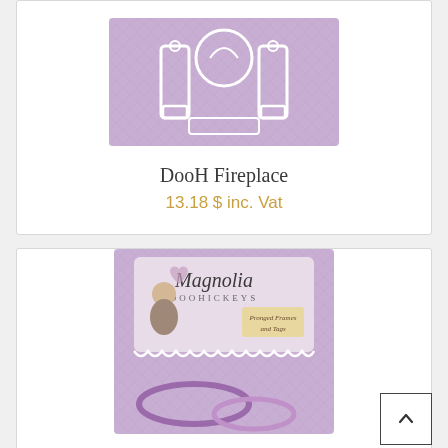[Figure (photo): Product image of DooH Fireplace craft item on purple/lavender background with white decorative elements]
DooH Fireplace
13.18 $ inc. Vat
[Figure (photo): Product packaging for Magnolia Doohickeys featuring a girl illustration and text 'Pronged Frames and Tags', purple scalloped die cut pieces visible at bottom]